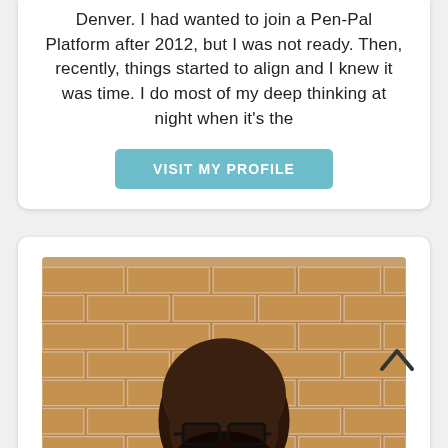Denver. I had wanted to join a Pen-Pal Platform after 2012, but I was not ready. Then, recently, things started to align and I knew it was time. I do most of my deep thinking at night when it's the
[Figure (other): A teal/blue rounded rectangular button with white bold uppercase text reading 'VISIT MY PROFILE']
[Figure (photo): A photo of a bald Black man with glasses and a full beard, wearing a light blue shirt, standing in front of a brick wall, smiling slightly.]